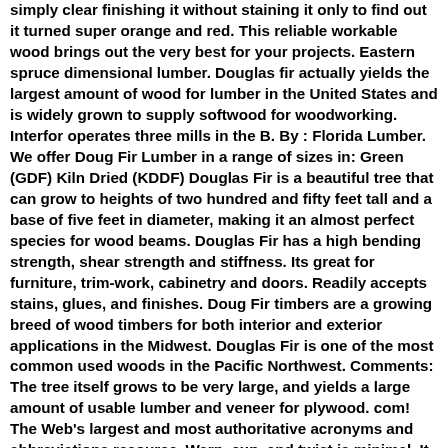simply clear finishing it without staining it only to find out it turned super orange and red. This reliable workable wood brings out the very best for your projects. Eastern spruce dimensional lumber. Douglas fir actually yields the largest amount of wood for lumber in the United States and is widely grown to supply softwood for woodworking. Interfor operates three mills in the B. By : Florida Lumber. We offer Doug Fir Lumber in a range of sizes in: Green (GDF) Kiln Dried (KDDF) Douglas Fir is a beautiful tree that can grow to heights of two hundred and fifty feet tall and a base of five feet in diameter, making it an almost perfect species for wood beams. Douglas Fir has a high bending strength, shear strength and stiffness. Its great for furniture, trim-work, cabinetry and doors. Readily accepts stains, glues, and finishes. Doug Fir timbers are a growing breed of wood timbers for both interior and exterior applications in the Midwest. Douglas Fir is one of the most common used woods in the Pacific Northwest. Comments: The tree itself grows to be very large, and yields a large amount of usable lumber and veneer for plywood. com! The Web's largest and most authoritative acronyms and abbreviations resource. Warp, cup, and twist is minimal. It scores the highest on the Strength Grade. It can resist rot, decay, weathering, insects—basically anything the elements throw at it. x 10 Ft. Douglas Fir finish is easy to cut, rip, mill and sand. Pound for pound, Douglas Fir is one of the best